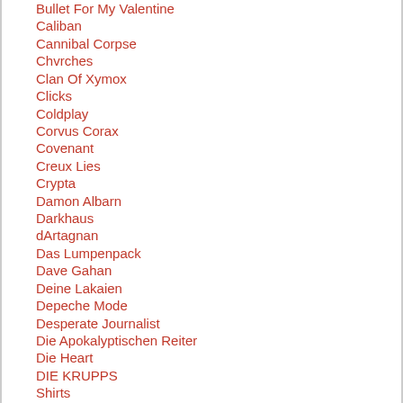Bullet For My Valentine
Caliban
Cannibal Corpse
Chvrches
Clan Of Xymox
Clicks
Coldplay
Corvus Corax
Covenant
Creux Lies
Crypta
Damon Albarn
Darkhaus
dArtagnan
Das Lumpenpack
Dave Gahan
Deine Lakaien
Depeche Mode
Desperate Journalist
Die Apokalyptischen Reiter
Die Heart
DIE KRUPPS
Shirts